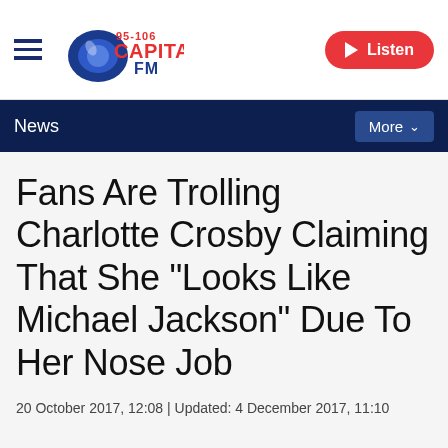Capital FM 95-106 | Listen | News | More
Fans Are Trolling Charlotte Crosby Claiming That She "Looks Like Michael Jackson" Due To Her Nose Job
20 October 2017, 12:08 | Updated: 4 December 2017, 11:10